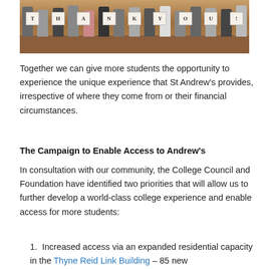[Figure (photo): Group photo of students sitting in rows holding individual cards spelling out THANK YOU!]
Together we can give more students the opportunity to experience the unique experience that St Andrew's provides, irrespective of where they come from or their financial circumstances.
The Campaign to Enable Access to Andrew's
In consultation with our community, the College Council and Foundation have identified two priorities that will allow us to further develop a world-class college experience and enable access for more students:
Increased access via an expanded residential capacity in the Thyne Reid Link Building – 85 new